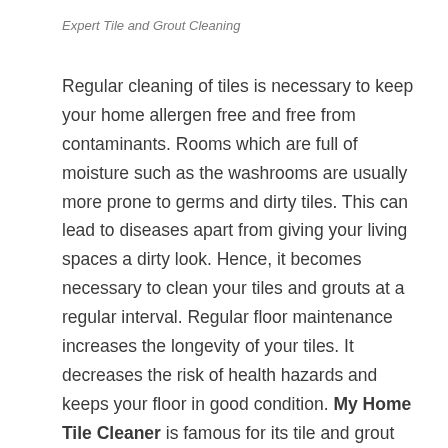Expert Tile and Grout Cleaning
Regular cleaning of tiles is necessary to keep your home allergen free and free from contaminants. Rooms which are full of moisture such as the washrooms are usually more prone to germs and dirty tiles. This can lead to diseases apart from giving your living spaces a dirty look. Hence, it becomes necessary to clean your tiles and grouts at a regular interval. Regular floor maintenance increases the longevity of your tiles. It decreases the risk of health hazards and keeps your floor in good condition. My Home Tile Cleaner is famous for its tile and grout cleaning, Sunbury services. They are available 24*7*365, even on public holidays and weekends. We reduce the risk or floor renovation by keeping your tiles and grouts in